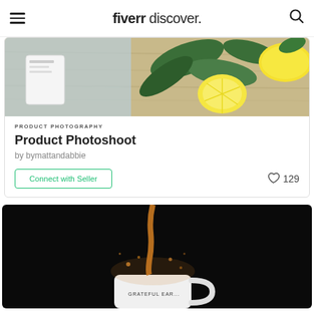fiverr discover.
[Figure (photo): Product photo showing lemons, green leaves, and a card on a wooden surface with light blue background]
PRODUCT PHOTOGRAPHY
Product Photoshoot
by bymattandabbie
Connect with Seller
129
[Figure (photo): Dark background photo showing coffee or liquid being poured splashing into a white mug with text 'Grateful Earth']